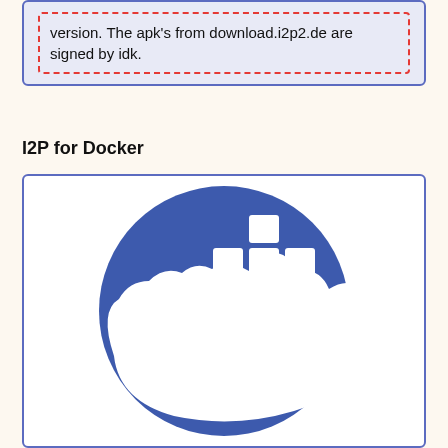version. The apk's from download.i2p2.de are signed by idk.
I2P for Docker
[Figure (logo): Docker logo: white whale carrying colored containers on a blue circular background, inside a white rounded rectangle with blue border.]